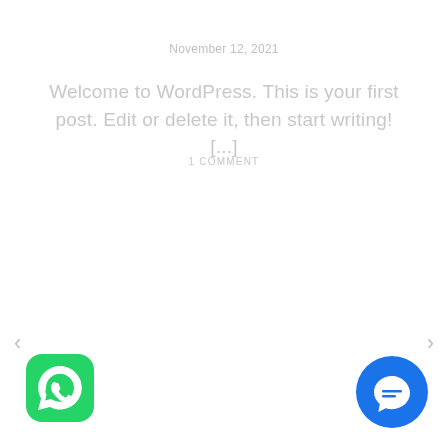November 12, 2021
Welcome to WordPress. This is your first post. Edit or delete it, then start writing! [...]
1 COMMENT
[Figure (other): Left navigation arrow (<)]
[Figure (other): Right navigation arrow (>)]
[Figure (logo): WhatsApp icon — green rounded square with white phone/chat handset logo]
[Figure (logo): Blue circular chat/comment button with white speech bubble icon]